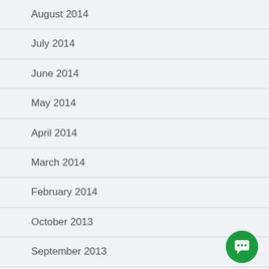August 2014
July 2014
June 2014
May 2014
April 2014
March 2014
February 2014
October 2013
September 2013
August 2013
July 2013
June 2013